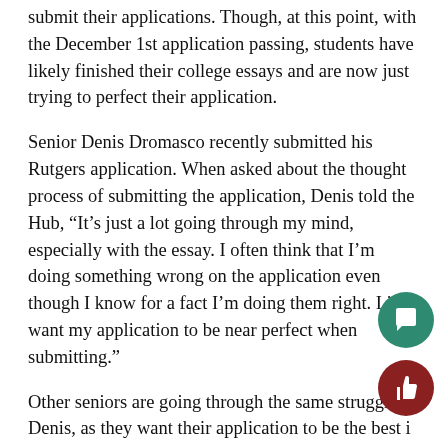submit their applications. Though, at this point, with the December 1st application passing, students have likely finished their college essays and are now just trying to perfect their application.
Senior Denis Dromasco recently submitted his Rutgers application. When asked about the thought process of submitting the application, Denis told the Hub, “It’s just a lot going through my mind, especially with the essay. I often think that I’m doing something wrong on the application even though I know for a fact I’m doing them right. I just want my application to be near perfect when submitting.”
Other seniors are going through the same struggle as Denis, as they want their application to be the best it can be before submission. Though no matter what position seniors are in, they are all preparing to find success in their next chapter in life.